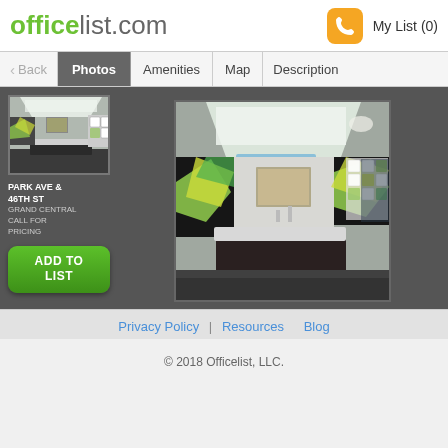officelist.com   My List (0)
< Back   Photos   Amenities   Map   Description
[Figure (photo): Thumbnail image of a modern office lobby with reception desk]
PARK AVE & 46TH ST
GRAND CENTRAL
CALL FOR PRICING
ADD TO LIST
[Figure (photo): Large photo of a modern office building lobby with a sleek reception desk, bright geometric ceiling, green and yellow abstract artwork panels, and a decorative white lattice partition]
Privacy Policy | Resources   Blog
© 2018 Officelist, LLC.